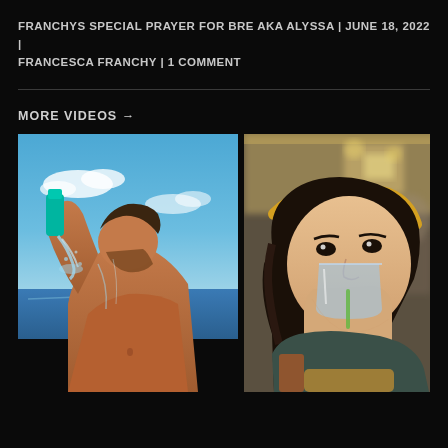FRANCHYS SPECIAL PRAYER FOR BRE AKA ALYSSA | JUNE 18, 2022 | FRANCESCA FRANCHY | 1 COMMENT
MORE VIDEOS →
[Figure (photo): Man at the beach pouring water from a teal bottle over his face with the sea in the background]
[Figure (photo): Young girl drinking from a glass at a restaurant, with blurred people in the background]